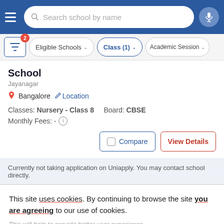Search school by name
Eligible Schools | Class (1) | Academic Session
School
Jayanagar
Bangalore  Location
Classes: Nursery - Class 8   Board: CBSE
Monthly Fees: -
Compare   View Details
Currently not taking application on Uniapply. You may contact school directly.
This site uses cookies. By continuing to browse the site you are agreeing to our use of cookies.
This will help to provide better user experience.
Ok, I Understand